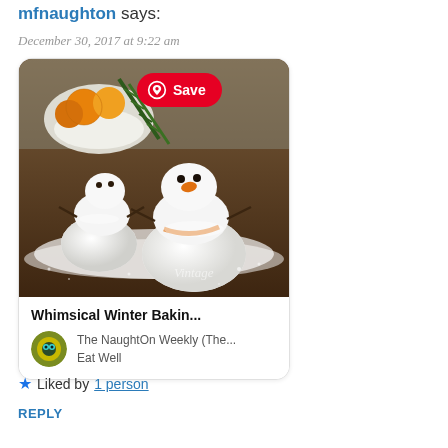mfnaughton says:
December 30, 2017 at 9:22 am
[Figure (photo): Pinterest pin card showing two snowman-shaped baked goods dusted with powdered sugar on a wooden surface, with rosemary sprigs and a bowl of oranges in the background. A red Pinterest Save button overlays the top of the image. Below the image: bold title 'Whimsical Winter Bakin...' and source 'The NaughtOn Weekly (The... Eat Well' with a circular green/yellow logo icon.]
★ Liked by 1 person
REPLY